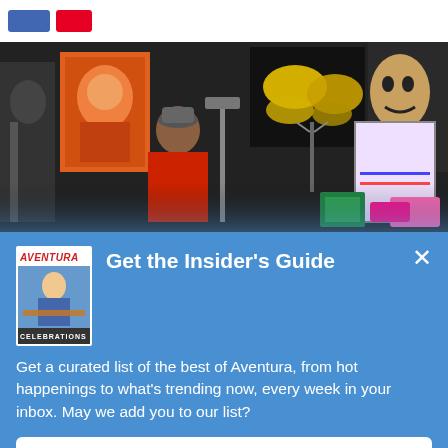[Figure (screenshot): Top navigation bar with blue Facebook share button and red Pinterest button]
[Figure (photo): Photo of an artist in a red jacket in a studio filled with colorful pop-art paintings including portraits, butterflies, and bold graphic artworks on dark walls]
[Figure (photo): Aventura magazine cover showing a woman in a winter outfit, with text CELEBRATIONS at the bottom]
Get the Insider's Guide
Get a curated list of the best of Aventura, from hot happenings to what's trending now, every week in your inbox. May we add you to our list?
Sign Me Up!